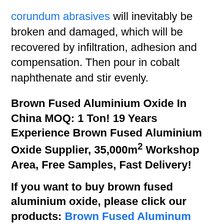corundum abrasives will inevitably be broken and damaged, which will be recovered by infiltration, adhesion and compensation. Then pour in cobalt naphthenate and stir evenly.
Brown Fused Aluminium Oxide In China MOQ: 1 Ton! 19 Years Experience Brown Fused Aluminium Oxide Supplier, 35,000m² Workshop Area, Free Samples, Fast Delivery!
If you want to buy brown fused aluminium oxide, please click our products: Brown Fused Aluminum Oxide for more information!
The best permeating adhesive is that the brown aluminium oxide permeating adhesive can flow into a linear shape when the permeating adhesive is inverted. At this time, the viscosity is the best and the permeating effect is the best. More flat tableware, tool spherical, triangular, oblique...